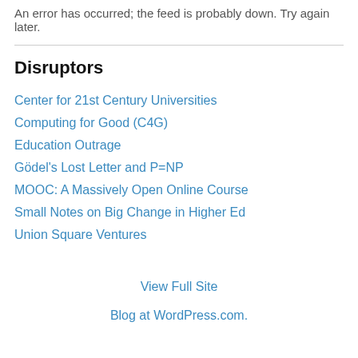An error has occurred; the feed is probably down. Try again later.
Disruptors
Center for 21st Century Universities
Computing for Good (C4G)
Education Outrage
Gödel's Lost Letter and P=NP
MOOC: A Massively Open Online Course
Small Notes on Big Change in Higher Ed
Union Square Ventures
View Full Site
Blog at WordPress.com.